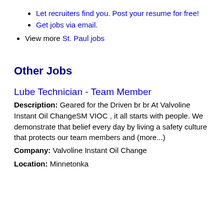Let recruiters find you. Post your resume for free!
Get jobs via email.
View more St. Paul jobs
Other Jobs
Lube Technician - Team Member
Description: Geared for the Driven br br At Valvoline Instant Oil ChangeSM VIOC , it all starts with people. We demonstrate that belief every day by living a safety culture that protects our team members and (more...)
Company: Valvoline Instant Oil Change
Location: Minnetonka